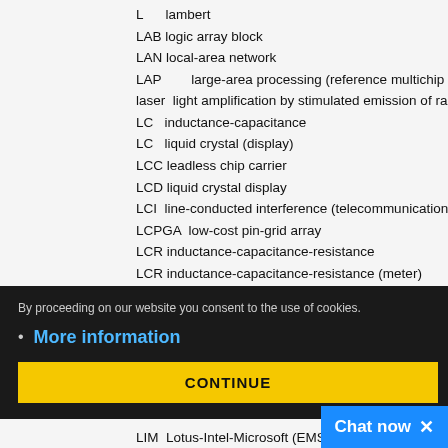L     lambert
LAB  logic array block
LAN  local-area network
LAP        large-area processing (reference multichip module IC)
laser  light amplification by stimulated emission of radiation
LC   inductance-capacitance
LC   liquid crystal (display)
LCC  leadless chip carrier
LCD  liquid crystal display
LCI  line-conducted interference (telecommunications)
LCPGA  low-cost pin-grid array
LCR  inductance-capacitance-resistance
LCR  inductance-capacitance-resistance (meter)
LDMOS  lateral double-diffused MOS
By proceeding on our website you consent to the use of cookies.
More information
CONTINUE
LIM  Lotus-Intel-Microsoft (EMS spec